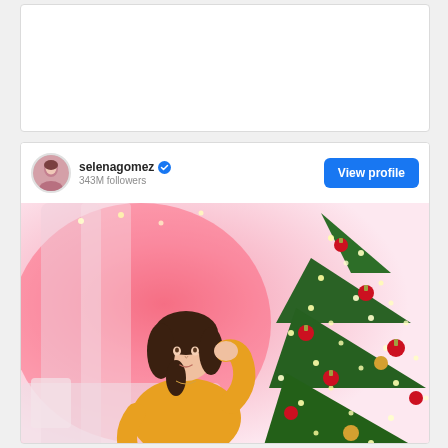[Figure (screenshot): Blank white card area at top of page]
[Figure (screenshot): Instagram profile card for selenagomez with 343M followers, View profile button, and a photo of a woman in a yellow sweater posing next to a decorated Christmas tree with red ornaments and string lights, pink/red ambient lighting in background]